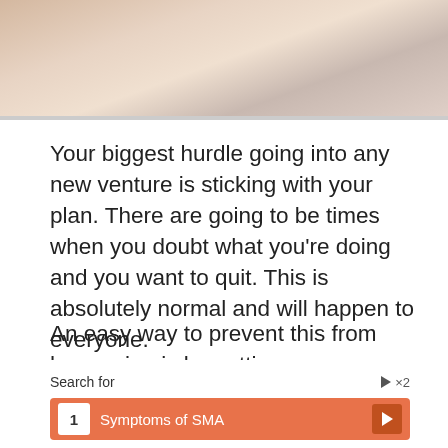[Figure (photo): Partial photo of a person in light-colored clothing, cropped at top of page]
Your biggest hurdle going into any new venture is sticking with your plan. There are going to be times when you doubt what you’re doing and you want to quit. This is absolutely normal and will happen to everyone.
An easy way to prevent this from happening is by putting your money where your mouth is. I’d encourage you to pick a char[ity] whe[re]...
[Figure (screenshot): Advertisement overlay: Search for '1 Symptoms of SMA' with orange button and arrow]